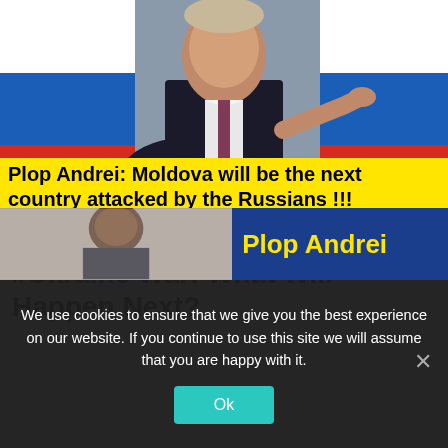[Figure (photo): Photo of a man in a dark suit gesturing with his right hand, standing in front of Russian flags and a grey background]
Plop Andrei: Moldova will be the next country attacked by the Russians !!!
Plop Andrei/ #Russia – #Ukraine War: What Will Happen Next?
[Figure (photo): Partial image of a person on the left side, and a blue background with yellow text reading 'Plop Andrei' on the right side]
We use cookies to ensure that we give you the best experience on our website. If you continue to use this site we will assume that you are happy with it.